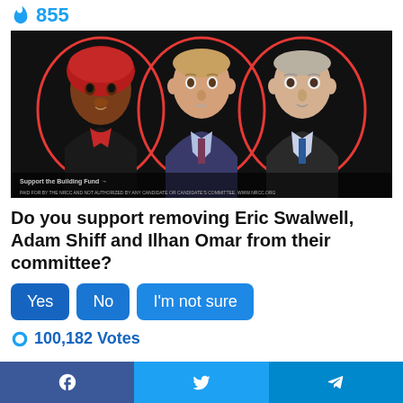🔥 855
[Figure (photo): Three politicians in red-circle frames on black background: Ilhan Omar (left, wearing red headscarf), Eric Swalwell (center), Adam Schiff (right). Small overlay text: 'Support the Building Fund' and a disclaimer line at the bottom.]
Do you support removing Eric Swalwell, Adam Shiff and Ilhan Omar from their committee?
Yes
No
I'm not sure
100,182 Votes
Facebook | Twitter | Telegram